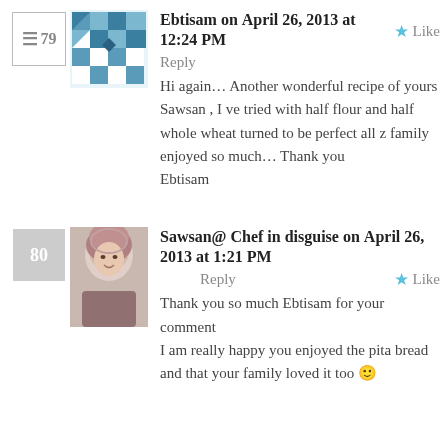Ebtisam on April 26, 2013 at 12:24 PM  Reply  Like
Hi again… Another wonderful recipe of yours Sawsan , I ve tried with half flour and half whole wheat turned to be perfect all z family enjoyed so much… Thank you Ebtisam
Sawsan@ Chef in disguise on April 26, 2013 at 1:21 PM  Reply  Like
Thank you so much Ebtisam for your comment I am really happy you enjoyed the pita bread and that your family loved it too 🙂